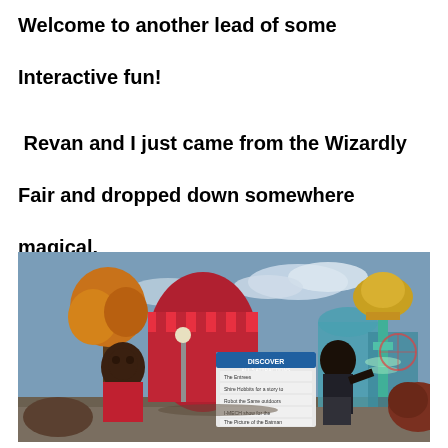Welcome to another lead of some Interactive fun!
Revan and I just came from the Wizardly Fair and dropped down somewhere magical.
[Figure (screenshot): Screenshot of a virtual world / game environment showing two avatar characters standing near a colorful amusement park or fair area. A sign reads 'DISCOVER ALL 5 ATTRACTIONS' with a list of attraction names. The background shows fantastical architecture, trees with autumn foliage, and a large golden trophy-like sculpture on a teal pole.]